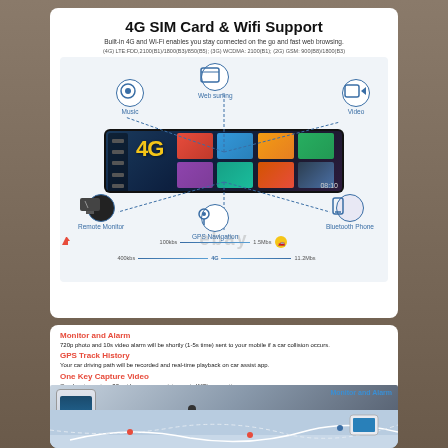4G SIM Card & Wifi Support
Built-in 4G and Wi-Fi enables you stay connected on the go and fast web browsing.
(4G) LTE:FDD,2100(B1)/1800(B3)/850(B5); (3G) WCDMA: 2100(B1); (2G) GSM: 900(B8)/1800(B3)
[Figure (infographic): Infographic showing a car mirror/dash camera device with 4G connectivity features: Music, Web surfing, Video, Bluetooth Phone, GPS Navigation, Remote Monitor, connected via web/lines. Speed indicators shown: 100kbs, 1.5Mbs, 400kbs, 11.2Mbs. eBay watermark visible.]
Monitor and Alarm
720p photo and 10s video alarm will be shortly (1-5s time) sent to your mobile if a car collision occurs.
GPS Track History
Your car driving path will be recorded and real-time playback on car assist app.
One Key Capture Video
One key to capture 20s video on car assist app via WiFi connection
[Figure (photo): Photo showing smartphone displaying car monitoring app with Monitor and Alarm label, alongside road scene with person and car.]
[Figure (photo): Map/GPS tracking display showing route with car assist app.]